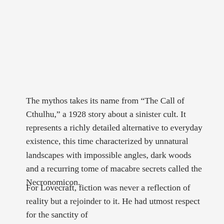The mythos takes its name from “The Call of Cthulhu,” a 1928 story about a sinister cult. It represents a richly detailed alternative to everyday existence, this time characterized by unnatural landscapes with impossible angles, dark woods and a recurring tome of macabre secrets called the Necronomicon.
For Lovecraft, fiction was never a reflection of reality but a rejoinder to it. He had utmost respect for the sanctity of